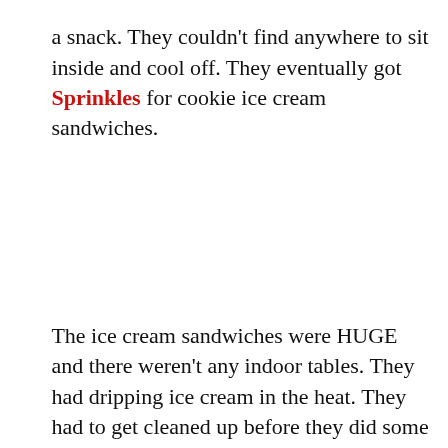a snack. They couldn't find anywhere to sit inside and cool off. They eventually got Sprinkles for cookie ice cream sandwiches.
The ice cream sandwiches were HUGE and there weren't any indoor tables. They had dripping ice cream in the heat. They had to get cleaned up before they did some shopping.
They got their vouchers at World of Disney and decided it was time to head back to the resort. They left the hotel at [time] for their Garden Grill reservation.